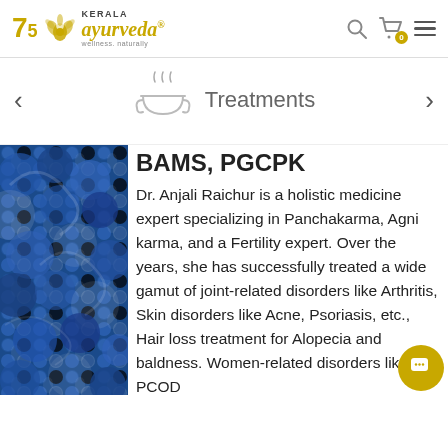[Figure (logo): Kerala Ayurveda logo with 75th anniversary badge, lotus flower icon, and tagline 'wellness. naturally']
[Figure (illustration): Bowl with steam icon representing Treatments navigation category]
Treatments
[Figure (photo): Blue and white mosaic/floral pattern partially visible on left side]
BAMS, PGCPK
Dr. Anjali Raichur is a holistic medicine expert specializing in Panchakarma, Agni karma, and a Fertility expert. Over the years, she has successfully treated a wide gamut of joint-related disorders like Arthritis, Skin disorders like Acne, Psoriasis, etc., Hair loss treatment for Alopecia and baldness. Women-related disorders like PCOD